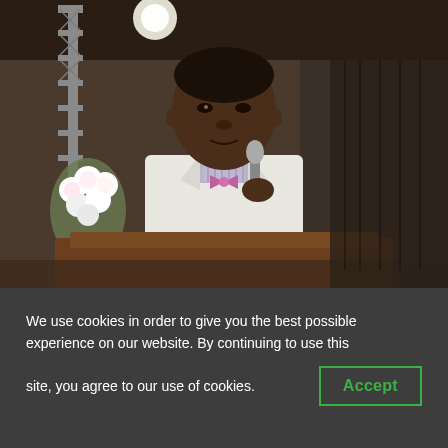[Figure (photo): An elderly man in a white suit jacket with a pink bow tie and striped dress shirt, holding a microphone and speaking at a wooden podium. White flowers visible on the left. Indoor event setting with truss structures in the background.]
We use cookies in order to give you the best possible experience on our website. By continuing to use this site, you agree to our use of cookies.
Accept